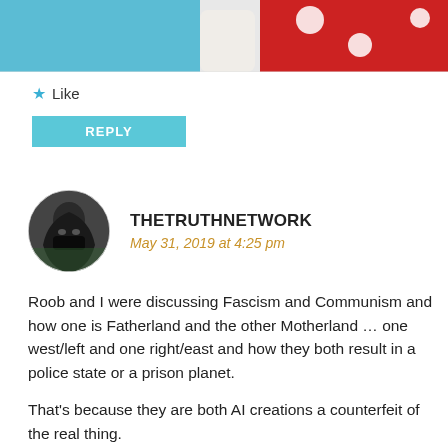[Figure (photo): Partial view of a figure in a red polka-dot outfit with white gloves against a blue background, cropped at the top of the page]
★ Like
REPLY
THETRUTHNETWORK
May 31, 2019 at 4:25 pm
Roob and I were discussing Fascism and Communism and how one is Fatherland and the other Motherland … one west/left and one right/east and how they both result in a police state or a prison planet.
That's because they are both AI creations a counterfeit of the real thing.